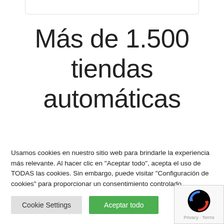Más de 1.500 tiendas automáticas
Usamos cookies en nuestro sitio web para brindarle la experiencia más relevante. Al hacer clic en "Aceptar todo", acepta el uso de TODAS las cookies. Sin embargo, puede visitar "Configuración de cookies" para proporcionar un consentimiento controlado.
Cookie Settings | Aceptar todo